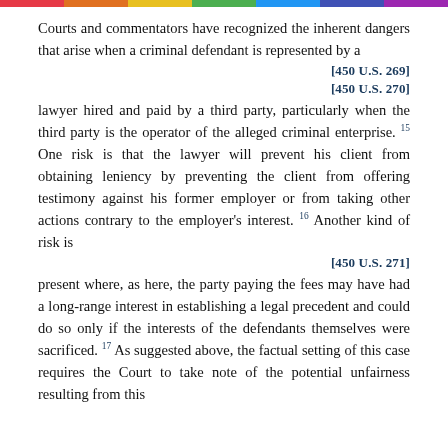Courts and commentators have recognized the inherent dangers that arise when a criminal defendant is represented by a
[450 U.S. 269]
[450 U.S. 270]
lawyer hired and paid by a third party, particularly when the third party is the operator of the alleged criminal enterprise. 15 One risk is that the lawyer will prevent his client from obtaining leniency by preventing the client from offering testimony against his former employer or from taking other actions contrary to the employer's interest. 16 Another kind of risk is
[450 U.S. 271]
present where, as here, the party paying the fees may have had a long-range interest in establishing a legal precedent and could do so only if the interests of the defendants themselves were sacrificed. 17 As suggested above, the factual setting of this case requires the Court to take note of the potential unfairness resulting from this